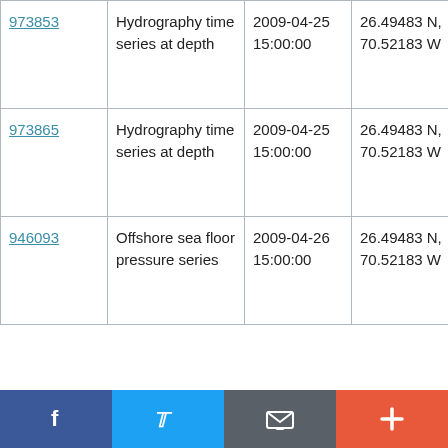| 973853 | Hydrography time series at depth | 2009-04-25 15:00:00 | 26.49483 N, 70.52183 W | NOAA Ship Ronald H. Brown RB0901 |
| 973865 | Hydrography time series at depth | 2009-04-25 15:00:00 | 26.49483 N, 70.52183 W | NOAA Ship Ronald H. Brown RB0901 |
| 946093 | Offshore sea floor pressure series | 2009-04-26 15:00:00 | 26.49483 N, 70.52183 W | NOAA Ship Ronald H. Brown RB0901 |
f   Twitter   Email   +